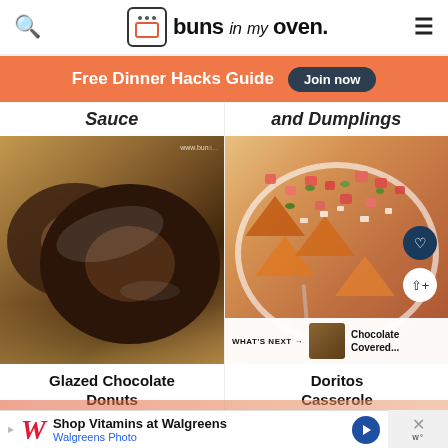buns in my oven
Free Dinner Hacks Guide  Join now
Sauce
and Dumplings
[Figure (photo): Two glazed chocolate donuts on burlap with watermark www.bunsinmyoven.com]
Glazed Chocolate Donuts
[Figure (photo): Doritos casserole dish topped with diced tomatoes, onions, and cilantro with heart and share action buttons, and a What's Next overlay showing Chocolate Covered...]
Doritos Casserole
Shop Vitamins at Walgreens  Walgreens Photo